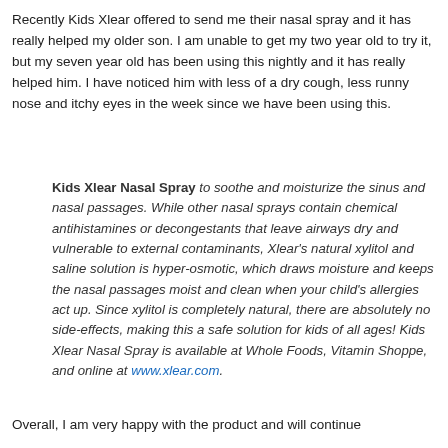Recently Kids Xlear offered to send me their nasal spray and it has really helped my older son. I am unable to get my two year old to try it, but my seven year old has been using this nightly and it has really helped him. I have noticed him with less of a dry cough, less runny nose and itchy eyes in the week since we have been using this.
Kids Xlear Nasal Spray to soothe and moisturize the sinus and nasal passages. While other nasal sprays contain chemical antihistamines or decongestants that leave airways dry and vulnerable to external contaminants, Xlear's natural xylitol and saline solution is hyper-osmotic, which draws moisture and keeps the nasal passages moist and clean when your child's allergies act up. Since xylitol is completely natural, there are absolutely no side-effects, making this a safe solution for kids of all ages! Kids Xlear Nasal Spray is available at Whole Foods, Vitamin Shoppe, and online at www.xlear.com.
Overall, I am very happy with the product and will continue